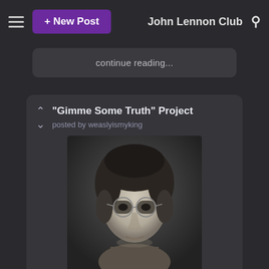≡  + New Post    John Lennon Club  🔍
continue reading...
"Gimme Some Truth" Project
posted by weaslyismyking
[Figure (photo): Black and white portrait photograph of John Lennon with round glasses and medium-length hair]
This is a news article. I received it as an email, so I can't post the link, so I'm copying the 🔗 here.

"JOHN LENNON: THE 'GIMME SOME TRUTH' PROJECT REVEALED